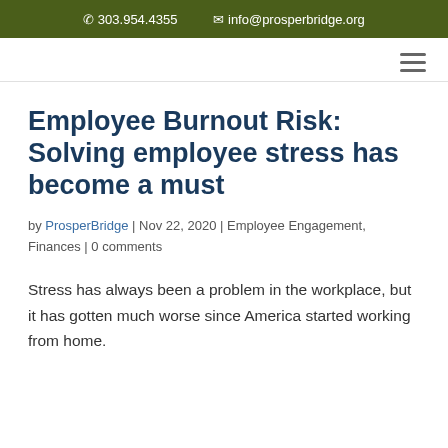303.954.4355   info@prosperbridge.org
Employee Burnout Risk: Solving employee stress has become a must
by ProsperBridge | Nov 22, 2020 | Employee Engagement, Finances | 0 comments
Stress has always been a problem in the workplace, but it has gotten much worse since America started working from home.